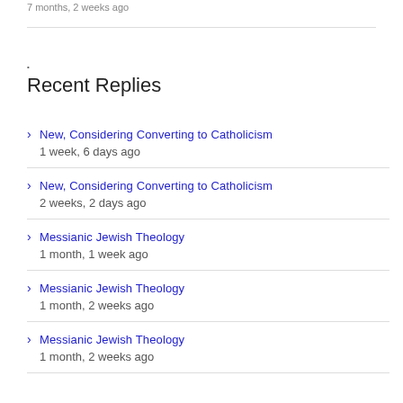7 months, 2 weeks ago
Recent Replies
New, Considering Converting to Catholicism
1 week, 6 days ago
New, Considering Converting to Catholicism
2 weeks, 2 days ago
Messianic Jewish Theology
1 month, 1 week ago
Messianic Jewish Theology
1 month, 2 weeks ago
Messianic Jewish Theology
1 month, 2 weeks ago